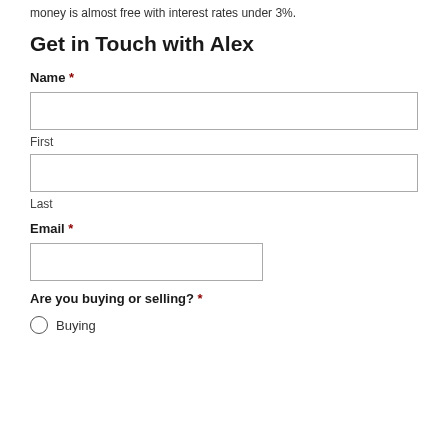money is almost free with interest rates under 3%.
Get in Touch with Alex
Name *
First
Last
Email *
Are you buying or selling? *
Buying